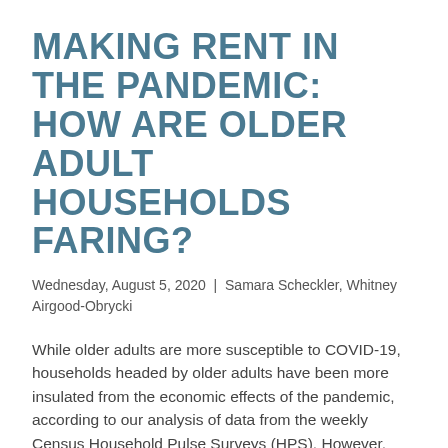MAKING RENT IN THE PANDEMIC: HOW ARE OLDER ADULT HOUSEHOLDS FARING?
Wednesday, August 5, 2020 | Samara Scheckler, Whitney Airgood-Obrycki
While older adults are more susceptible to COVID-19, households headed by older adults have been more insulated from the economic effects of the pandemic, according to our analysis of data from the weekly Census Household Pulse Surveys (HPS). However, impacts have not been evenly distributed across the population. Among older adults, lower-income households of color face especially difficult challenges.